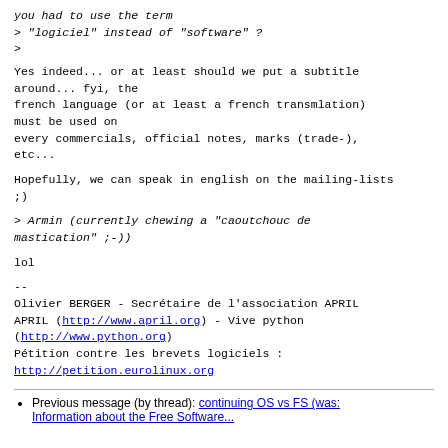you had to use the term
> "logiciel" instead of "software" ?
>
Yes indeed... or at least should we put a subtitle around... fyi, the
french language (or at least a french transmlation) must be used on
every commercials, official notes, marks (trade-),
etc...
Hopefully, we can speak in english on the mailing-lists
;)
> Armin (currently chewing a "caoutchouc de
mastication" ;-))
lol
--
Olivier BERGER - Secrétaire de l'association APRIL
APRIL (http://www.april.org) - Vive python
(http://www.python.org)
Pétition contre les brevets logiciels :
http://petition.eurolinux.org
Previous message (by thread): continuing OS vs FS (was: Information about the Free Software...